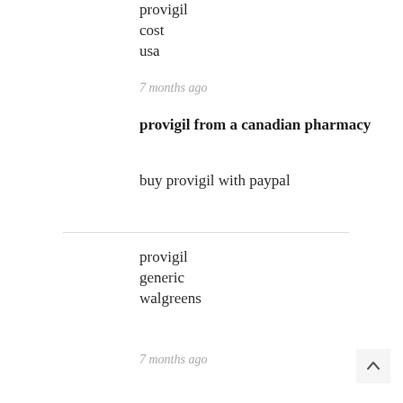provigil
cost
usa
7 months ago
provigil from a canadian pharmacy
buy provigil with paypal
provigil
generic
walgreens
7 months ago